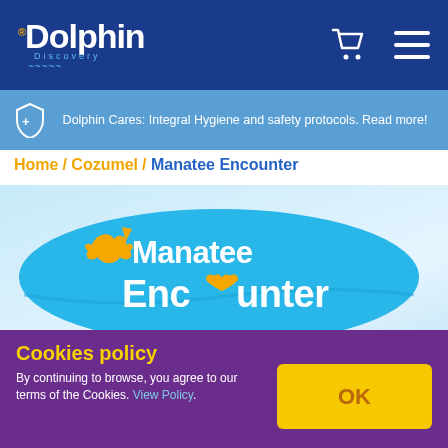Dolphin Discovery — Navigation header with logo, cart and menu icons
Dolphin Cares: Integral Hygiene and safety protocols. Read more!
Home / Cozumel / Manatee Encounter
[Figure (illustration): Manatee Encounter logo on a light blue bubble background with dolphin graphic, Messenger and WhatsApp buttons]
Cookies policy
By continuing to browse, you agree to our terms of the Cookies. View Policy.